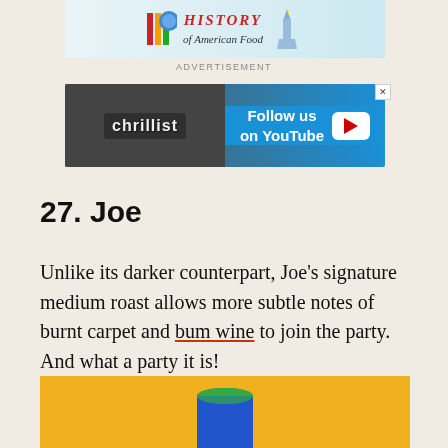[Figure (other): Advertisement banner for 'HISTORY of American Food' with colorful logo and Statue of Liberty image]
ADVERTISEMENT
[Figure (other): Thrillist advertisement: Follow us on YouTube, with a photo of a man in a library and Thrillist logo]
27. Joe
Unlike its darker counterpart, Joe's signature medium roast allows more subtle notes of burnt carpet and bum wine to join the party. And what a party it is!
[Figure (photo): Partial image of a yellow/gold background with what appears to be a coffee can with green lid at the bottom of the page]